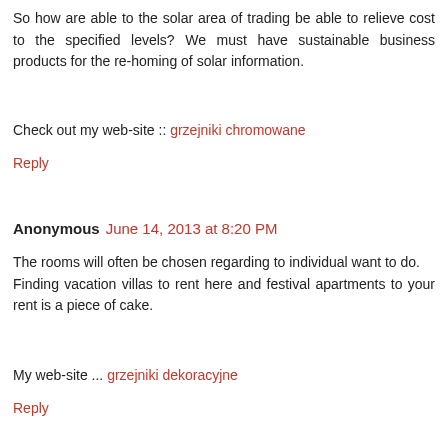So how are able to the solar area of trading be able to relieve cost to the specified levels? We must have sustainable business products for the re-homing of solar information.
Check out my web-site :: grzejniki chromowane
Reply
Anonymous June 14, 2013 at 8:20 PM
The rooms will often be chosen regarding to individual want to do. Finding vacation villas to rent here and festival apartments to your rent is a piece of cake.
My web-site ... grzejniki dekoracyjne
Reply